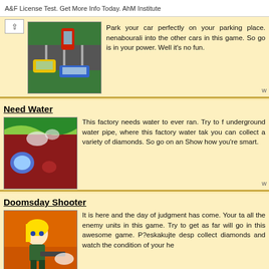A&F License Test. Get More Info Today. AhM Institute
[Figure (screenshot): Top-down parking game screenshot with yellow and red cars on green background]
Park your car perfectly on your parking place. nenabourali into the other cars in this game. So go is in your power. Well it's no fun.
Need Water
[Figure (screenshot): Need Water game screenshot showing underground pipe scene with diamonds]
This factory needs water to ever ran. Try to f underground water pipe, where this factory water tak you can collect a variety of diamonds. So go on an Show how you're smart.
Doomsday Shooter
[Figure (screenshot): Doomsday Shooter game screenshot with anime-style character holding weapon]
It is here and the day of judgment has come. Your ta all the enemy units in this game. Try to get as far will go in this awesome game. P?eskakujte desp collect diamonds and watch the condition of your he
Jelly Towers
[Figure (screenshot): Jelly Towers game screenshot with orange background and dark silhouette]
Try to get this gelatine under this snake and try to it ate. Get to work and try on all pleasure for this